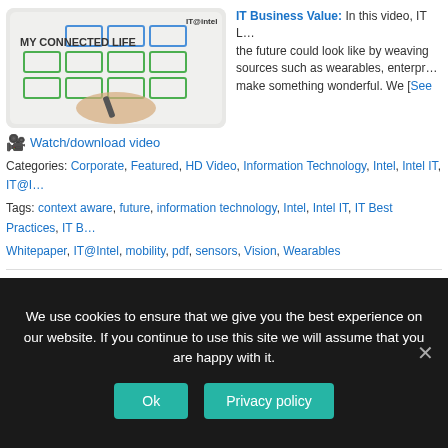[Figure (screenshot): IT@Intel whiteboard video thumbnail showing 'MY CONNECTED LIFE' written on whiteboard with boxes drawn around it, hand holding marker]
IT Business Value: In this video, IT L… the future could look like by weaving sources such as wearables, enterpr… make something wonderful. We [See
🎥 Watch/download video
Categories: Corporate, Featured, HD Video, Information Technology, Intel, Intel IT, IT@I… Tags: context aware, future, information technology, Intel, Intel IT, IT Best Practices, IT B… Whitepaper, IT@Intel, mobility, pdf, sensors, Vision, Wearables
Eltako Electronics: Empowering Building Management with Intelligent Sy…
January 28th, 2014 | Connected Social Media Syndication
[Figure (photo): Photo of business people in conversation, two men in suits talking]
Business Solutions for IT Managers:… and EnOcean to bring powerful and … Electronics' home automation busine…
We use cookies to ensure that we give you the best experience on our website. If you continue to use this site we will assume that you are happy with it.
Ok
Privacy policy